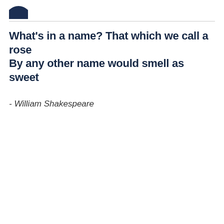[Figure (logo): Partial dark blue circular logo/icon in top left corner]
What's in a name? That which we call a rose
By any other name would smell as sweet
- William Shakespeare